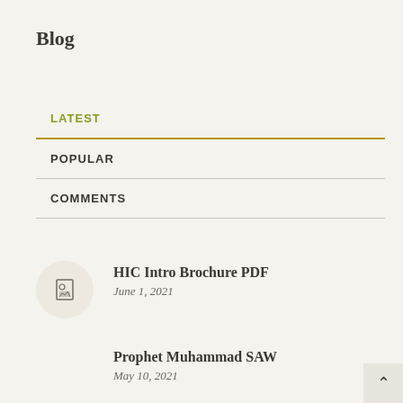Blog
LATEST
POPULAR
COMMENTS
HIC Intro Brochure PDF
June 1, 2021
Prophet Muhammad SAW
May 10, 2021